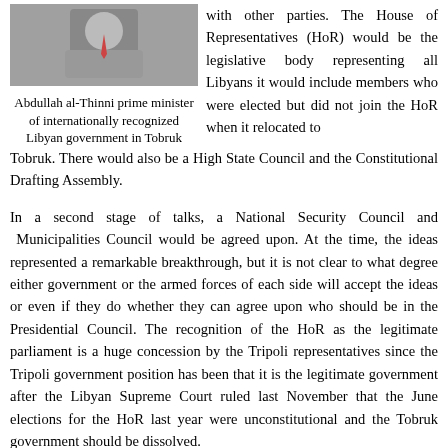[Figure (photo): Headshot photo of Abdullah al-Thinni, prime minister of internationally recognized Libyan government in Tobruk]
Abdullah al-Thinni prime minister of internationally recognized Libyan government in Tobruk
with other parties. The House of Representatives (HoR) would be the legislative body representing all Libyans it would include members who were elected but did not join the HoR when it relocated to Tobruk. There would also be a High State Council and the Constitutional Drafting Assembly.
In a second stage of talks, a National Security Council and Municipalities Council would be agreed upon. At the time, the ideas represented a remarkable breakthrough, but it is not clear to what degree either government or the armed forces of each side will accept the ideas or even if they do whether they can agree upon who should be in the Presidential Council. The recognition of the HoR as the legitimate parliament is a huge concession by the Tripoli representatives since the Tripoli government position has been that it is the legitimate government after the Libyan Supreme Court ruled last November that the June elections for the HoR last year were unconstitutional and the Tobruk government should be dissolved.
Later reports from the United Nations Support Mission (UNSMIL) in Libya indicate that there were changes made to the documents after discussion of the ideas with the two parties. The reports stressed that continued fighting while the dialogue continued made the discussions more difficult and that